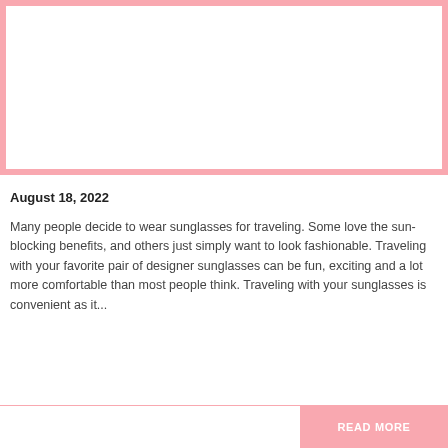[Figure (photo): Image placeholder with pink border and white interior]
August 18, 2022
Many people decide to wear sunglasses for traveling. Some love the sun-blocking benefits, and others just simply want to look fashionable. Traveling with your favorite pair of designer sunglasses can be fun, exciting and a lot more comfortable than most people think. Traveling with your sunglasses is convenient as it...
READ MORE